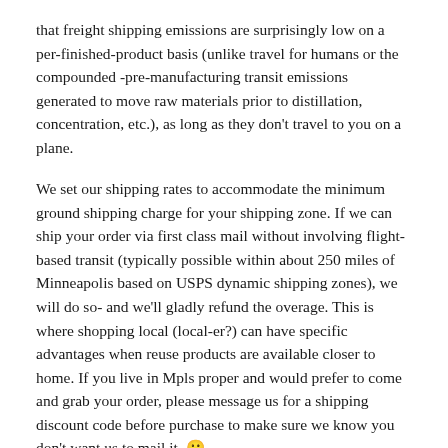that freight shipping emissions are surprisingly low on a per-finished-product basis (unlike travel for humans or the compounded -pre-manufacturing transit emissions generated to move raw materials prior to distillation, concentration, etc.), as long as they don't travel to you on a plane.
We set our shipping rates to accommodate the minimum ground shipping charge for your shipping zone. If we can ship your order via first class mail without involving flight-based transit (typically possible within about 250 miles of Minneapolis based on USPS dynamic shipping zones), we will do so- and we'll gladly refund the overage. This is where shopping local (local-er?) can have specific advantages when reuse products are available closer to home. If you live in Mpls proper and would prefer to come and grab your order, please message us for a shipping discount code before purchase to make sure we know you don't want us to mail it. 🙂